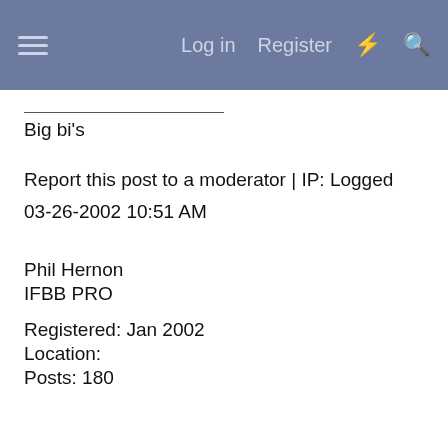Log in  Register
Big bi's
Report this post to a moderator | IP: Logged
03-26-2002 10:51 AM
Phil Hernon
IFBB PRO
Registered: Jan 2002
Location:
Posts: 180